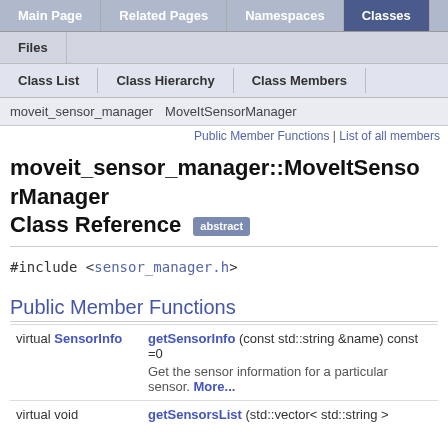Main Page | Related Pages | Namespaces | Classes | Files
Class List | Class Hierarchy | Class Members
moveit_sensor_manager > MoveItSensorManager
Public Member Functions | List of all members
moveit_sensor_manager::MoveItSensorManager Class Reference abstract
#include <sensor_manager.h>
Public Member Functions
| Type | Function |
| --- | --- |
| virtual SensorInfo | getSensorInfo (const std::string &name) const =0
Get the sensor information for a particular sensor. More... |
| virtual void | getSensorsList (std::vector< std::string > |